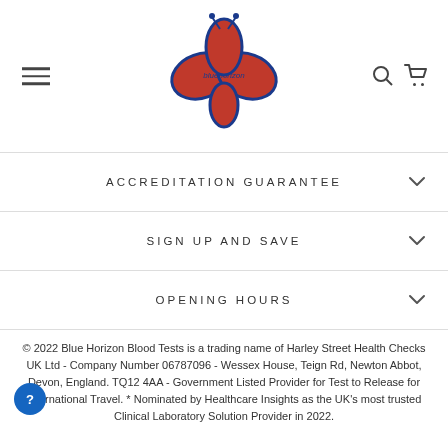[Figure (logo): Blue Horizon blood tests logo — a butterfly shape made of red blood drop shapes with blue outlines, with the text 'bluehorizon' in the center]
ACCREDITATION GUARANTEE
SIGN UP AND SAVE
OPENING HOURS
© 2022 Blue Horizon Blood Tests is a trading name of Harley Street Health Checks UK Ltd - Company Number 06787096 - Wessex House, Teign Rd, Newton Abbot, Devon, England. TQ12 4AA - Government Listed Provider for Test to Release for International Travel. * Nominated by Healthcare Insights as the UK's most trusted Clinical Laboratory Solution Provider in 2022.